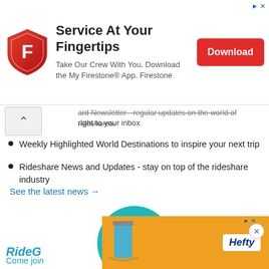[Figure (infographic): Firestone advertisement banner with shield logo, headline 'Service At Your Fingertips', subtext 'Take Our Crew With You. Download the My Firestone® App. Firestone', and a red Download button]
ard Newsletter - regular updates on the world of rideshares, right to your inbox
Weekly Highlighted World Destinations to inspire your next trip
Rideshare News and Updates - stay on top of the rideshare industry
See the latest news →
[Figure (illustration): Teal circle with a cartoon sofa/couch illustration inside]
RideG
Come join
drivers
[Figure (infographic): Hefty advertisement banner with orange background showing Hefty logo]